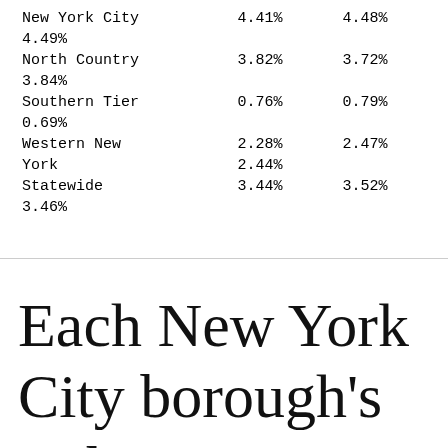| Region | Col1 | Col2 | Col3 |
| --- | --- | --- | --- |
| New York City | 4.41% | 4.48% | 4.49% |
| North Country | 3.82% | 3.72% | 3.84% |
| Southern Tier | 0.76% | 0.79% | 0.69% |
| Western New York | 2.28% | 2.47% | 2.44% |
| Statewide | 3.44% | 3.52% | 3.46% |
Each New York City borough's 7-day